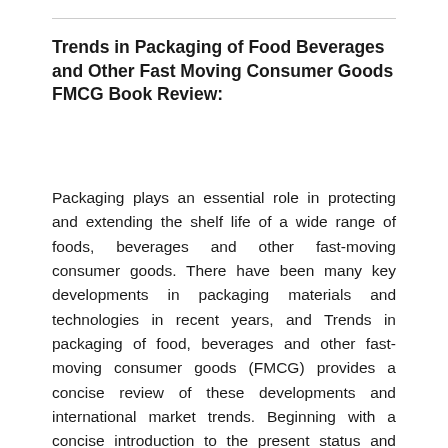Trends in Packaging of Food Beverages and Other Fast Moving Consumer Goods FMCG Book Review:
Packaging plays an essential role in protecting and extending the shelf life of a wide range of foods, beverages and other fast-moving consumer goods. There have been many key developments in packaging materials and technologies in recent years, and Trends in packaging of food, beverages and other fast-moving consumer goods (FMCG) provides a concise review of these developments and international market trends. Beginning with a concise introduction to the present status and trends in innovations in packaging for food, beverages and other fast-moving consumer goods, the book goes on to consider modified